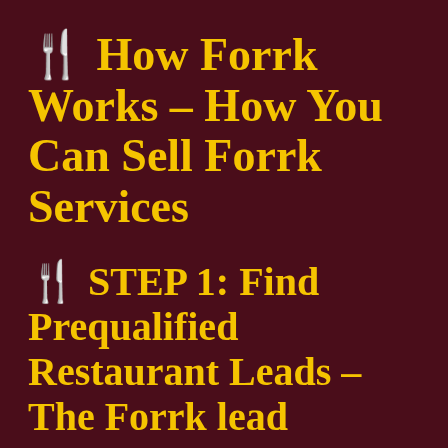🍴 How Forrk Works – How You Can Sell Forrk Services
🍴 STEP 1: Find Prequalified Restaurant Leads – The Forrk lead